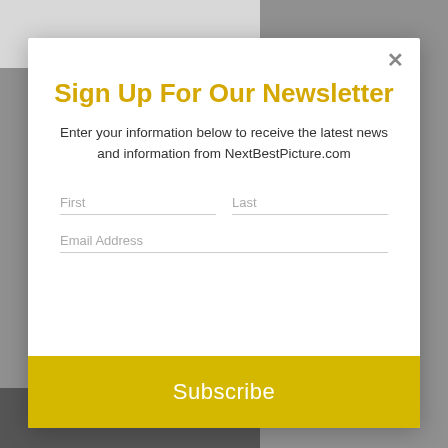Sign Up For Our Newsletter
Enter your information below to receive the latest news and information from NextBestPicture.com
[Figure (screenshot): Newsletter sign-up modal form with First, Last, and Email Address input fields and a Subscribe button]
Subscribe